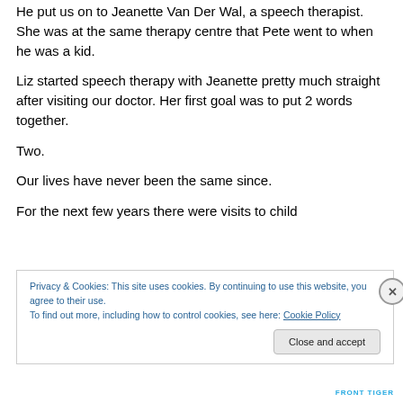He put us on to Jeanette Van Der Wal, a speech therapist. She was at the same therapy centre that Pete went to when he was a kid.
Liz started speech therapy with Jeanette pretty much straight after visiting our doctor. Her first goal was to put 2 words together.
Two.
Our lives have never been the same since.
For the next few years there were visits to child
Privacy & Cookies: This site uses cookies. By continuing to use this website, you agree to their use.
To find out more, including how to control cookies, see here: Cookie Policy
Close and accept